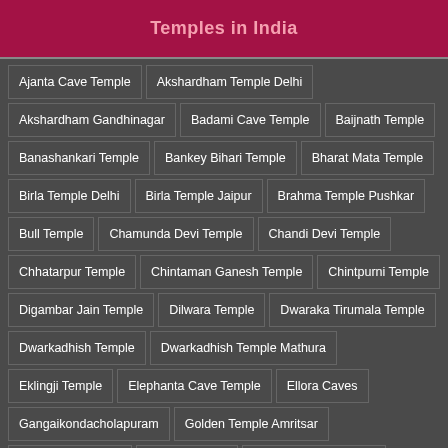Temples in India
Ajanta Cave Temple
Akshardham Temple Delhi
Akshardham Gandhinagar
Badami Cave Temple
Baijnath Temple
Banashankari Temple
Bankey Bihari Temple
Bharat Mata Temple
Birla Temple Delhi
Birla Temple Jaipur
Brahma Temple Pushkar
Bull Temple
Chamunda Devi Temple
Chandi Devi Temple
Chhatarpur Temple
Chintaman Ganesh Temple
Chintpurni Temple
Digambar Jain Temple
Dilwara Temple
Dwaraka Tirumala Temple
Dwarkadhish Temple
Dwarkadhish Temple Mathura
Eklingji Temple
Elephanta Cave Temple
Ellora Caves
Gangaikondacholapuram
Golden Temple Amritsar
Guruvayur Temple
Hampi Temple
Hoysaleswara Temple
Iskcon Temple Delhi
Iskcon Temple Bangalore